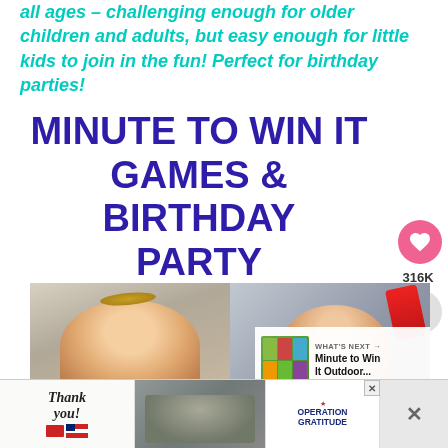all ages – challenging enough for older children and adults, but easy enough for little kids to join in the fun! Perfect for birthday parties!
MINUTE TO WIN IT GAMES & BIRTHDAY PARTY
[Figure (photo): Two photos side by side: left shows a child with a coin on their forehead looking up, right shows a child holding a large red cup near their head. Below is a 'WHAT'S NEXT' overlay with a thumbnail for 'Minute to Win It Outdoor...']
[Figure (infographic): Advertisement banner at the bottom: Thank you note with military imagery and Operation Gratitude logo. Close buttons visible on the right.]